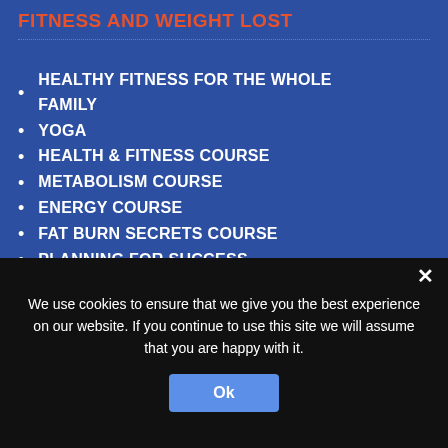FITNESS AND WEIGHT LOST
HEALTHY FITNESS FOR THE WHOLE FAMILY
YOGA
HEALTH & FITNESS COURSE
METABOLISM COURSE
ENERGY COURSE
FAT BURN SECRETS COURSE
PLANNING FOR SUCCESS
GREEN SMOOTHIE CLEANSE
THE RUNNING MANUAL
SELF-DISCIPLINE
HEALTHY EATING
JUICING FOR VITALITY
ABSOLUTE YOGA
We use cookies to ensure that we give you the best experience on our website. If you continue to use this site we will assume that you are happy with it.